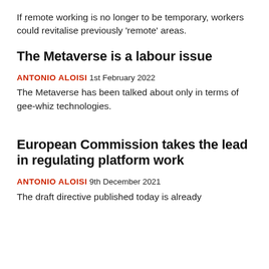If remote working is no longer to be temporary, workers could revitalise previously 'remote' areas.
The Metaverse is a labour issue
ANTONIO ALOISI 1st February 2022
The Metaverse has been talked about only in terms of gee-whiz technologies.
European Commission takes the lead in regulating platform work
ANTONIO ALOISI 9th December 2021
The draft directive published today is already